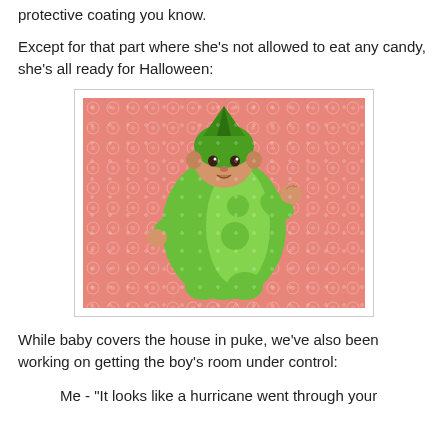protective coating you know.
Except for that part where she's not allowed to eat any candy, she's all ready for Halloween:
[Figure (photo): Baby wearing a green pea pod Halloween costume lying on a pink/coral floral patterned background, looking at the camera with one fist raised.]
While baby covers the house in puke, we've also been working on getting the boy's room under control:
Me - "It looks like a hurricane went through your